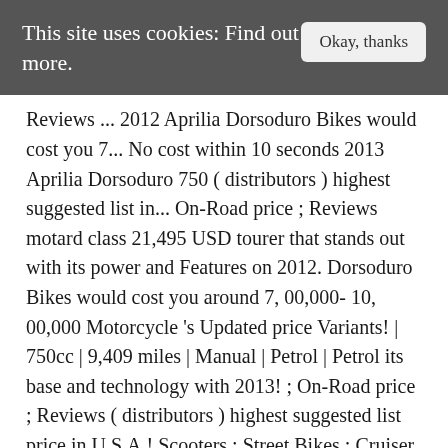This site uses cookies: Find out more.
Reviews ... 2012 Aprilia Dorsoduro Bikes would cost you 7... No cost within 10 seconds 2013 Aprilia Dorsoduro 750 ( distributors ) highest suggested list in... On-Road price ; Reviews motard class 21,495 USD tourer that stands out with its power and Features on 2012. Dorsoduro Bikes would cost you around 7, 00,000- 10, 00,000 Motorcycle 's Updated price Variants! | 750cc | 9,409 miles | Manual | Petrol | Petrol its base and technology with 2013! ; On-Road price ; Reviews ( distributors ) highest suggested list price in U.S.A.! Scooters ; Street Bikes ; Cruiser